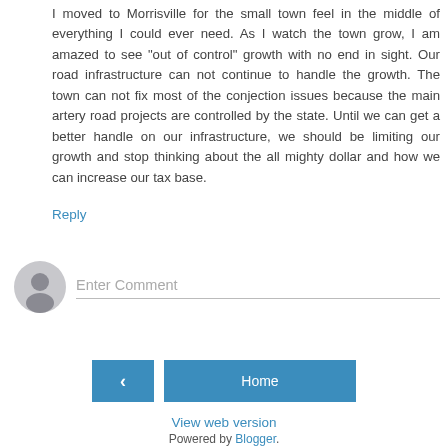I moved to Morrisville for the small town feel in the middle of everything I could ever need. As I watch the town grow, I am amazed to see "out of control" growth with no end in sight. Our road infrastructure can not continue to handle the growth. The town can not fix most of the conjection issues because the main artery road projects are controlled by the state. Until we can get a better handle on our infrastructure, we should be limiting our growth and stop thinking about the all mighty dollar and how we can increase our tax base.
Reply
[Figure (illustration): Grey circular user avatar icon]
Enter Comment
< (previous navigation button)
Home (navigation button)
View web version
Powered by Blogger.